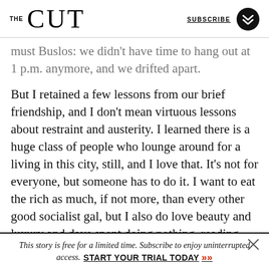THE CUT  SUBSCRIBE
must Buslos: we didn't have time to hang out at 1 p.m. anymore, and we drifted apart.
But I retained a few lessons from our brief friendship, and I don't mean virtuous lessons about restraint and austerity. I learned there is a huge class of people who lounge around for a living in this city, still, and I love that. It's not for everyone, but someone has to do it. I want to eat the rich as much, if not more, than every other good socialist gal, but I also do love beauty and luxury and days spent doing nothing, reading and stretching and drinking
This story is free for a limited time. Subscribe to enjoy uninterrupted access. START YOUR TRIAL TODAY